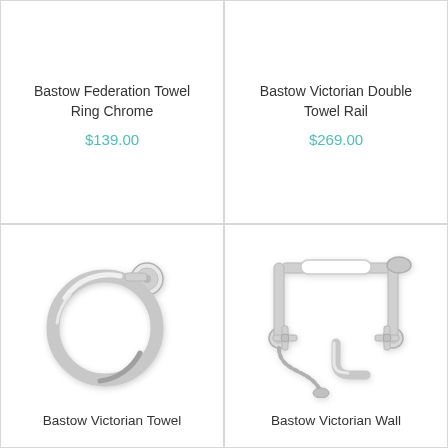Bastow Federation Towel Ring Chrome
$139.00
Bastow Victorian Double Towel Rail
$269.00
[Figure (photo): Chrome towel ring wall mounted bathroom accessory]
Bastow Victorian Towel
[Figure (photo): Chrome Victorian wall-mounted bath/shower mixer tap with handshower]
Bastow Victorian Wall